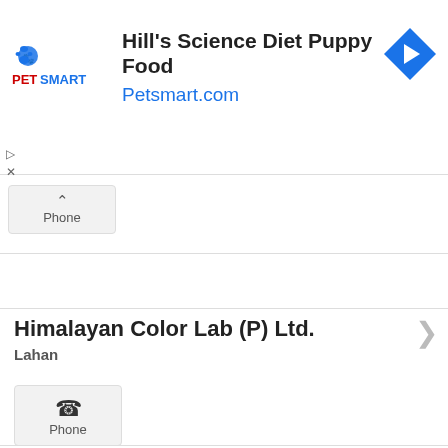[Figure (screenshot): PetSmart advertisement banner with logo, text 'Hill's Science Diet Puppy Food' and 'Petsmart.com', and a blue diamond direction arrow icon]
Phone
Himalayan Color Lab (P) Ltd.
Lahan
Phone
Himchuli Auto
Lahan
Phone